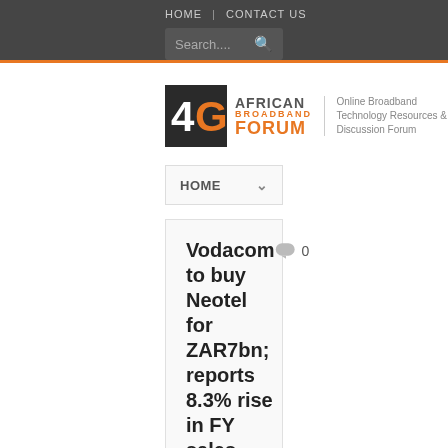HOME | CONTACT US
[Figure (logo): 4G African Broadband Forum logo with tagline: Online Broadband Technology Resources & Discussion Forum]
HOME
Vodacom to buy Neotel for ZAR7bn; reports 8.3% rise in FY sales
19 May 2014  by admin-4ga
[Figure (photo): Vodacom blue banner/sign with globe logo and company name text visible]